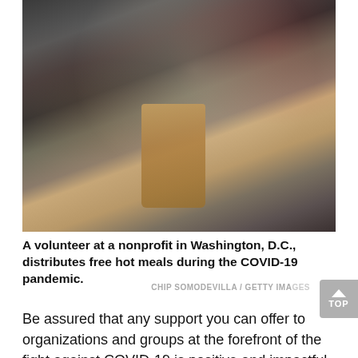[Figure (photo): A volunteer wearing a mask and yellow gloves at a nonprofit in Washington, D.C., distributes free hot meals during the COVID-19 pandemic. The volunteer is holding a large brown paper bag and passing it through a car window. Other volunteers in masks are visible in the background.]
A volunteer at a nonprofit in Washington, D.C., distributes free hot meals during the COVID-19 pandemic.
CHIP SOMODEVILLA / GETTY IMAGES
Be assured that any support you can offer to organizations and groups at the forefront of the fight against COVID-19 is positive and impactful, no matter how big or small. In this critical